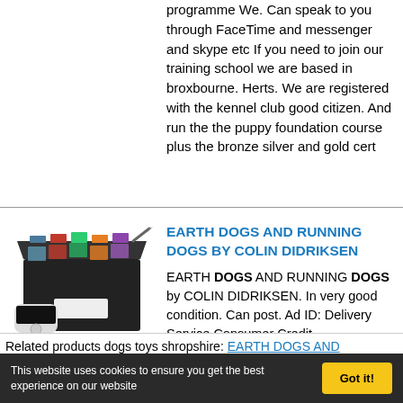programme We. Can speak to you through FaceTime and messenger and skype etc If you need to join our training school we are based in broxbourne. Herts. We are registered with the kennel club good citizen. And run the the puppy foundation course plus the bronze silver and gold cert
EARTH DOGS AND RUNNING DOGS BY COLIN DIDRIKSEN
EARTH DOGS AND RUNNING DOGS by COLIN DIDRIKSEN. In very good condition. Can post. Ad ID: Delivery Service Consumer Credit
Related products dogs toys shropshire: EARTH DOGS AND RUNNING DOGS BY COLIN DIDRIKSEN
This website uses cookies to ensure you get the best experience on our website